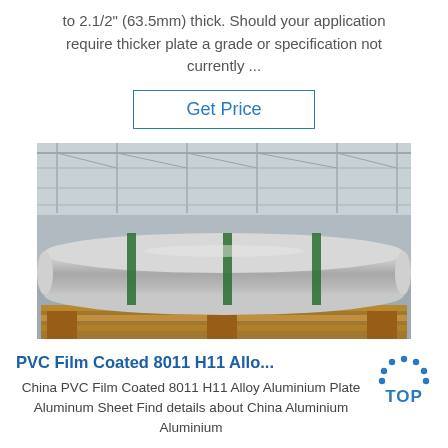to 2.1/2" (63.5mm) thick. Should your application require thicker plate a grade or specification not currently ...
Get Price
[Figure (photo): Large aluminum rolls/coils banded with green straps, stored on wooden pallets inside an industrial warehouse with high ceilings and metal roof structure]
PVC Film Coated 8011 H11 Allo...
China PVC Film Coated 8011 H11 Alloy Aluminium Plate Aluminum Sheet Find details about China Aluminium Aluminium